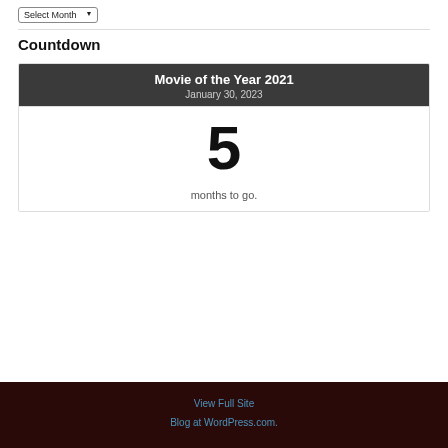Select Month
Countdown
[Figure (other): Countdown widget showing 'Movie of the Year 2021' with date January 30, 2023, displaying '5 months to go.']
View Full Site
Blog at WordPress.com.